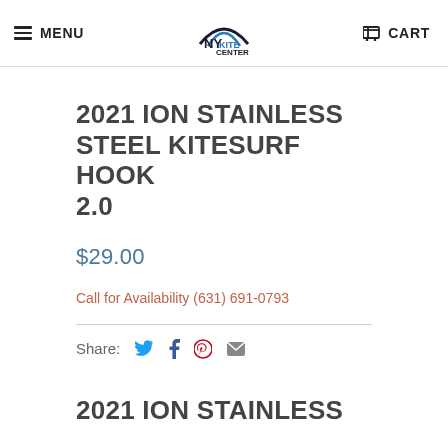MENU | NY KITE CENTER | CART
2021 ION STAINLESS STEEL KITESURF HOOK 2.0
$29.00
Call for Availability (631) 691-0793
Share:
2021 ION STAINLESS